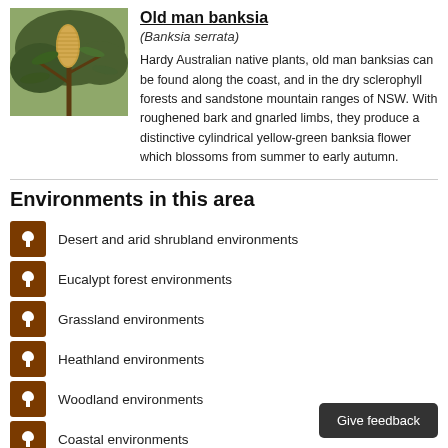[Figure (photo): Photograph of old man banksia plant showing a cylindrical yellow-green banksia flower on a branch with green leaves]
Old man banksia
(Banksia serrata)
Hardy Australian native plants, old man banksias can be found along the coast, and in the dry sclerophyll forests and sandstone mountain ranges of NSW. With roughened bark and gnarled limbs, they produce a distinctive cylindrical yellow-green banksia flower which blossoms from summer to early autumn.
Environments in this area
Desert and arid shrubland environments
Eucalypt forest environments
Grassland environments
Heathland environments
Woodland environments
Coastal environments